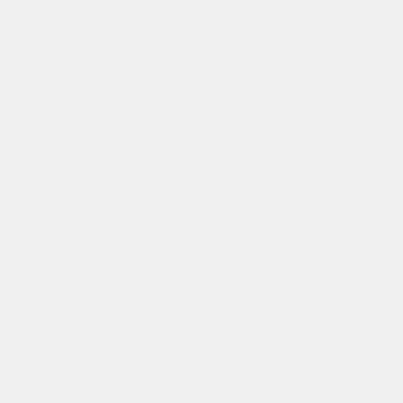behaviours and limitations are present in the provided modifiers:
While you can always write SomeTask(param = null) on the command line, using a task